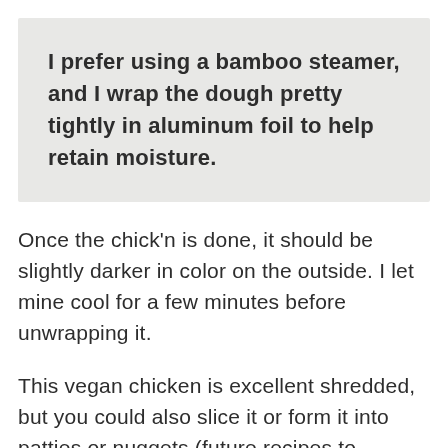I prefer using a bamboo steamer, and I wrap the dough pretty tightly in aluminum foil to help retain moisture.
Once the chick'n is done, it should be slightly darker in color on the outside. I let mine cool for a few minutes before unwrapping it.
This vegan chicken is excellent shredded, but you could also slice it or form it into patties or nuggets (future recipes to come!). It takes on any flavorings you add